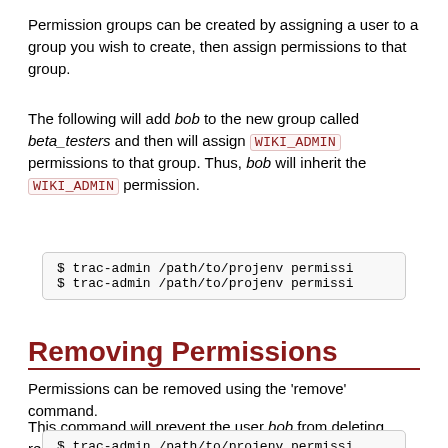Permission groups can be created by assigning a user to a group you wish to create, then assign permissions to that group.
The following will add bob to the new group called beta_testers and then will assign WIKI_ADMIN permissions to that group. Thus, bob will inherit the WIKI_ADMIN permission.
$ trac-admin /path/to/projenv permissi
$ trac-admin /path/to/projenv permissi
Removing Permissions
Permissions can be removed using the 'remove' command.
This command will prevent the user bob from deleting reports:
$ trac-admin /path/to/projenv permissi